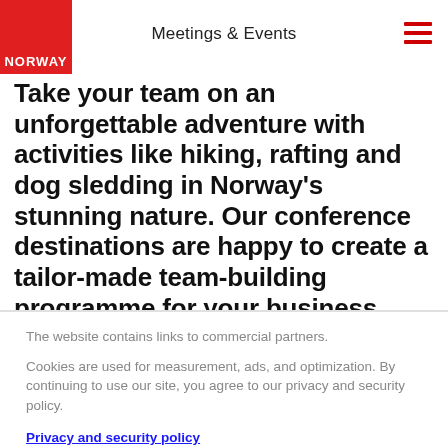Meetings & Events
Take your team on an unforgettable adventure with activities like hiking, rafting and dog sledding in Norway's stunning nature. Our conference destinations are happy to create a tailor-made team-building programme for your business
The website contains links to commercial partners.
Cookies are used for measurement, ads, and optimization. By continuing to use our site, you agree to our privacy and security policy.
Privacy and security policy
Reject All
Accept All Cookies
Cookies Settings